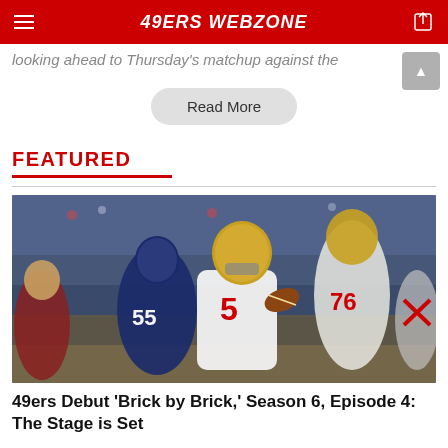49ERS WEBZONE
looking ahead to Thursday's matchup against the
Read More
FEATURED
[Figure (photo): San Francisco 49ers quarterback #5 dropping back to pass during a preseason game against the Houston Texans. Texans defender #55 rushes the passer. 49ers offensive lineman #76 blocks in the background. Indoor stadium setting.]
49ers Debut 'Brick by Brick,' Season 6, Episode 4: The Stage is Set